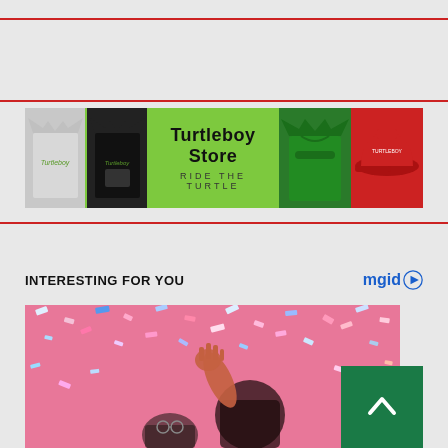[Figure (illustration): Turtleboy Store advertisement banner with green background, showing t-shirts, hoodies, and caps. Text reads 'Turtleboy Store' and 'RIDE THE TURTLE']
INTERESTING FOR YOU
[Figure (logo): mgid logo with play button icon]
[Figure (photo): Person raising hand in crowd with colorful confetti falling, pink and blue colors]
[Figure (other): Scroll to top button - green square with upward chevron arrow]